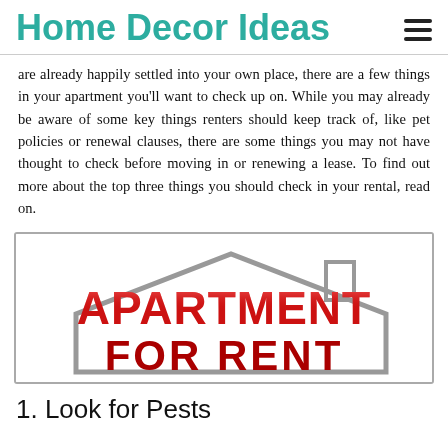Home Decor Ideas
are already happily settled into your own place, there are a few things in your apartment you'll want to check up on. While you may already be aware of some key things renters should keep track of, like pet policies or renewal clauses, there are some things you may not have thought to check before moving in or renewing a lease. To find out more about the top three things you should check in your rental, read on.
[Figure (illustration): Apartment For Rent sign graphic: bold red text 'APARTMENT FOR RENT' with a grey house outline silhouette behind it, white background, grey border.]
1. Look for Pests